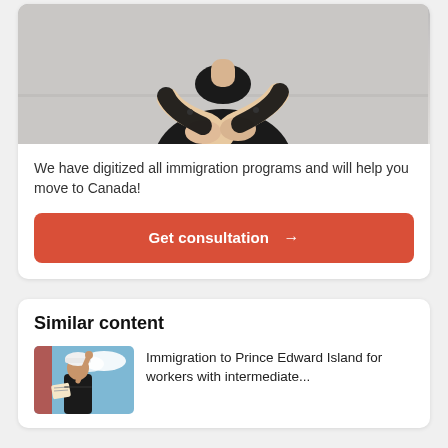[Figure (photo): Person wearing black clothing with arms crossed, photographed from chest up against a light grey background]
We have digitized all immigration programs and will help you move to Canada!
Get consultation →
Similar content
[Figure (photo): Person in black outfit holding a map, pointing upward, with blue sky in background. Red tinted left edge.]
Immigration to Prince Edward Island for workers with intermediate...